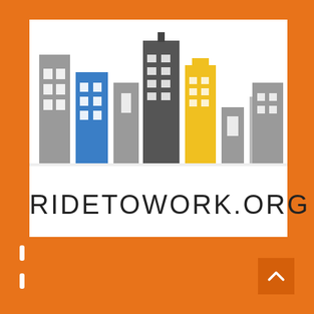[Figure (logo): RideToWork.org logo featuring a stylized city skyline of buildings in grey, blue, dark grey, and yellow colors, with the text RIDETOWORK.ORG below in large spaced letters on a white background, surrounded by an orange border/frame with scroll indicators and a navigation button.]